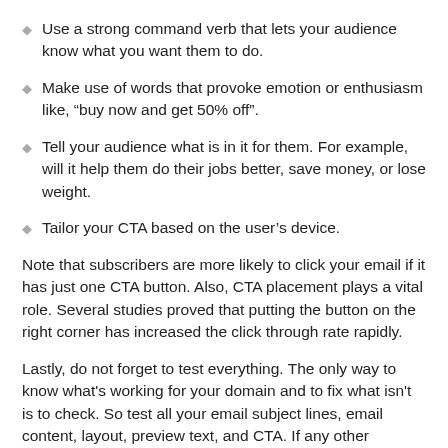Use a strong command verb that lets your audience know what you want them to do.
Make use of words that provoke emotion or enthusiasm like, “buy now and get 50% off”.
Tell your audience what is in it for them. For example, will it help them do their jobs better, save money, or lose weight.
Tailor your CTA based on the user’s device.
Note that subscribers are more likely to click your email if it has just one CTA button. Also, CTA placement plays a vital role. Several studies proved that putting the button on the right corner has increased the click through rate rapidly.
Lastly, do not forget to test everything. The only way to know what's working for your domain and to fix what isn't is to check. So test all your email subject lines, email content, layout, preview text, and CTA. If any other component of email is left